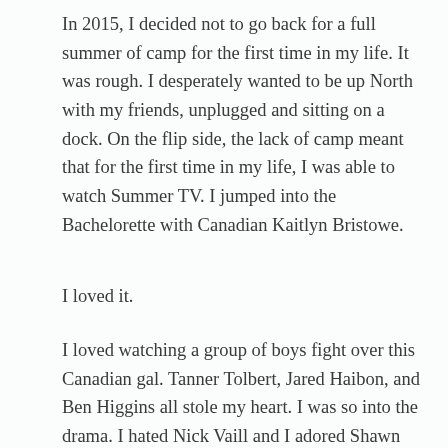In 2015, I decided not to go back for a full summer of camp for the first time in my life. It was rough. I desperately wanted to be up North with my friends, unplugged and sitting on a dock. On the flip side, the lack of camp meant that for the first time in my life, I was able to watch Summer TV. I jumped into the Bachelorette with Canadian Kaitlyn Bristowe.
I loved it.
I loved watching a group of boys fight over this Canadian gal. Tanner Tolbert, Jared Haibon, and Ben Higgins all stole my heart. I was so into the drama. I hated Nick Vaill and I adored Shawn Booth. It was a perfect entry into the show. When they announced that Ben Higgins, the boy of all our dreams, would be the Bachelor – I was sucked in.
It was a fantastic season. Olivia Caridi was a great 'villain' very easy to love to hate. Becca Tilley, Caila Quinn and Joelle...